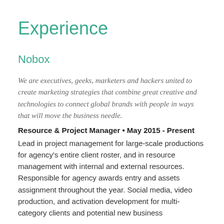Experience
Nobox
We are executives, geeks, marketers and hackers united to create marketing strategies that combine great creative and technologies to connect global brands with people in ways that will move the business needle.
Resource & Project Manager • May 2015 - Present
Lead in project management for large-scale productions for agency's entire client roster, and in resource management with internal and external resources. Responsible for agency awards entry and assets assignment throughout the year. Social media, video production, and activation development for multi-category clients and potential new business